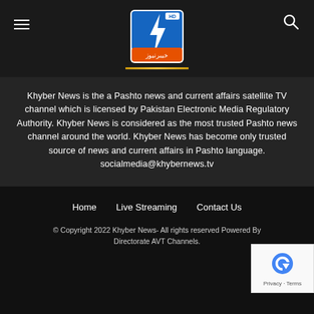[Figure (logo): Khyber News HD logo with lightning bolt and Pashto text]
Khyber News is the a Pashto news and current affairs satellite TV channel which is licensed by Pakistan Electronic Media Regulatory Authority. Khyber News is considered as the most trusted Pashto news channel around the world. Khyber News has become only trusted source of news and current affairs in Pashto language. socialmedia@khybernews.tv
[Figure (infographic): Social media icon buttons: Facebook, Instagram, TikTok, Twitter, YouTube]
Home   Live Streaming   Contact Us
© Copyright 2022 Khyber News- All rights reserved Powered By Directorate AVT Channels.